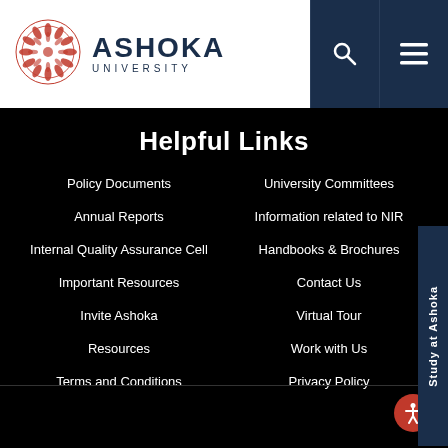[Figure (logo): Ashoka University logo with red circular mandala graphic and ASHOKA UNIVERSITY text in dark navy]
Helpful Links
Policy Documents
University Committees
Annual Reports
Information related to NIR
Internal Quality Assurance Cell
Handbooks & Brochures
Important Resources
Contact Us
Invite Ashoka
Virtual Tour
Resources
Work with Us
Terms and Conditions
Privacy Policy